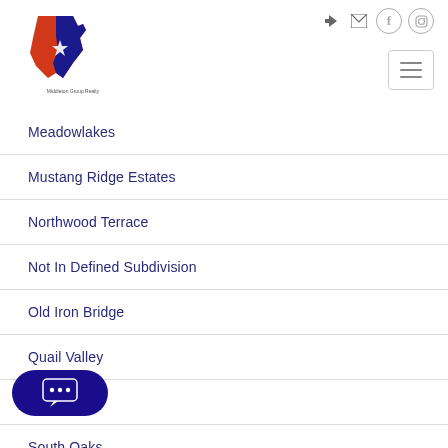Middleton Group Realty - navigation header with logo and icons
Meadowlakes
Mustang Ridge Estates
Northwood Terrace
Not In Defined Subdivision
Old Iron Bridge
Quail Valley
South Oaks